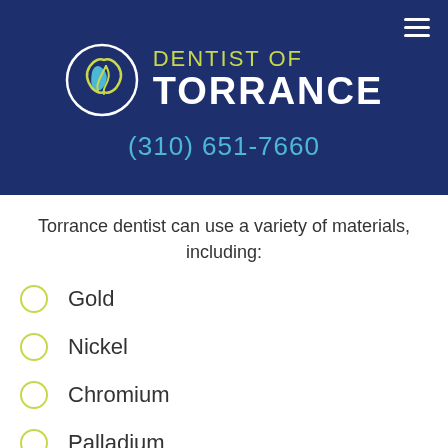[Figure (logo): Dentist of Torrance logo with circular tooth icon in green and blue on dark navy background, with phone number (310) 651-7660]
Torrance dentist can use a variety of materials, including:
Gold
Nickel
Chromium
Palladium